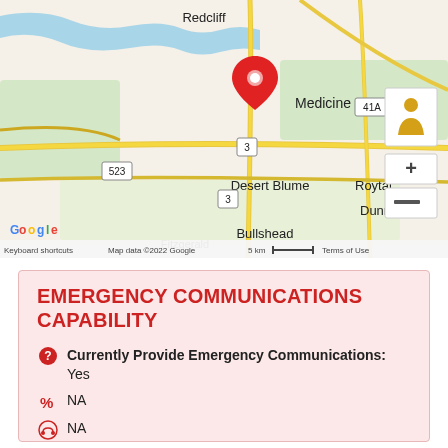[Figure (map): Google Maps showing Medicine Hat area in Alberta, Canada with a red location pin on Medicine Hat. Nearby labels include Redcliff, Desert Blume, Roytal, Dunmore, Bullshead, Fitzgerald. Roads 3 and 41A visible. Map controls (Street View person icon, zoom +/-) on right side. Scale bar shows 5 km. Footer: 'Keyboard shortcuts | Map data ©2022 Google | 5 km | Terms of Use'.]
EMERGENCY COMMUNICATIONS CAPABILITY
Currently Provide Emergency Communications: Yes
NA
NA